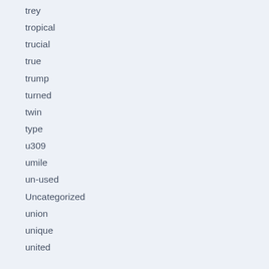trey
tropical
trucial
true
trump
turned
twin
type
u309
umile
un-used
Uncategorized
union
unique
united